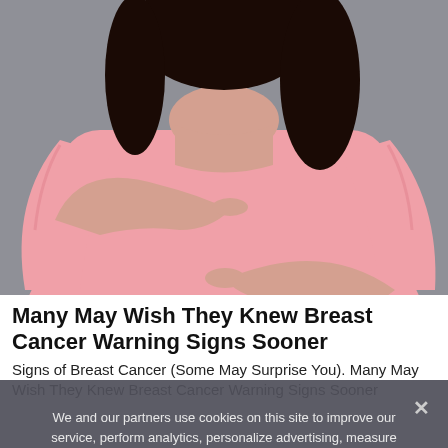[Figure (photo): Woman in pink long-sleeve shirt with both hands placed on her chest/breast area, against a gray background. Only her torso and arms are visible, not her face.]
Many May Wish They Knew Breast Cancer Warning Signs Sooner
Signs of Breast Cancer (Some May Surprise You). Many May Wish They Knew Breast Cancer Warning Signs Sooner
We and our partners use cookies on this site to improve our service, perform analytics, personalize advertising, measure advertising performance, and remember website preferences.